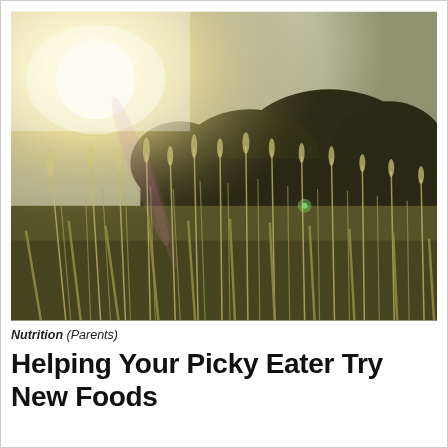[Figure (photo): Outdoor photo of tall wild grass and wildflowers backlit by bright sunlight in the upper left, with dark trees silhouetted in the background against a bright, overexposed sky. Golden-green tones throughout.]
Nutrition (Parents)
Helping Your Picky Eater Try New Foods